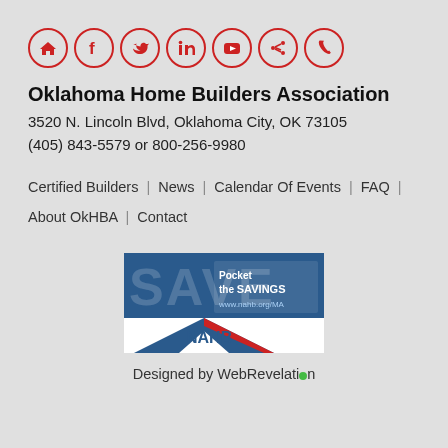[Figure (infographic): Row of 7 red-outlined circle icons for social media and contact: home, Facebook, Twitter, LinkedIn, YouTube, share/network, phone]
Oklahoma Home Builders Association
3520 N. Lincoln Blvd, Oklahoma City, OK 73105
(405) 843-5579 or 800-256-9980
Certified Builders | News | Calendar Of Events | FAQ | About OkHBA | Contact
[Figure (photo): NAHB advertisement banner: 'Pocket the SAVINGS www.nahb.org/MA' with NAHB logo on blue and white background]
Designed by WebRevelation